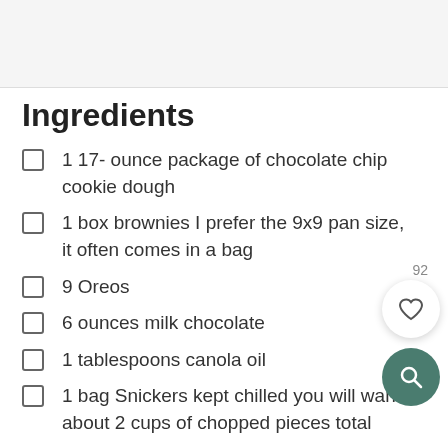Ingredients
1 17- ounce package of chocolate chip cookie dough
1 box brownies I prefer the 9x9 pan size, it often comes in a bag
9 Oreos
6 ounces milk chocolate
1 tablespoons canola oil
1 bag Snickers kept chilled you will want about 2 cups of chopped pieces total